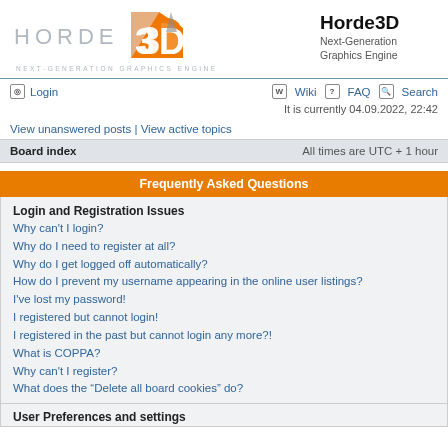[Figure (logo): Horde3D logo with orange 3D graphic and 'HORDE 3D NEXT-GENERATION GRAPHICS ENGINE' text on left, and 'Horde3D Next-Generation Graphics Engine' text on right]
Login | Wiki | FAQ | Search
It is currently 04.09.2022, 22:42
View unanswered posts | View active topics
Board index   All times are UTC + 1 hour
Frequently Asked Questions
Login and Registration Issues
Why can't I login?
Why do I need to register at all?
Why do I get logged off automatically?
How do I prevent my username appearing in the online user listings?
I've lost my password!
I registered but cannot login!
I registered in the past but cannot login any more?!
What is COPPA?
Why can't I register?
What does the "Delete all board cookies" do?
User Preferences and settings